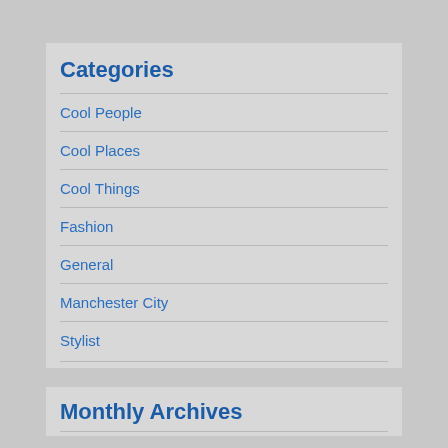Categories
Cool People
Cool Places
Cool Things
Fashion
General
Manchester City
Stylist
Monthly Archives